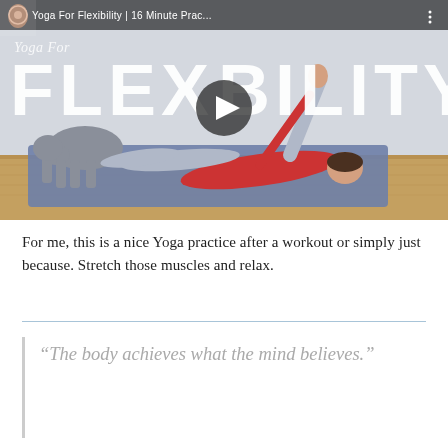[Figure (screenshot): YouTube video thumbnail showing a yoga flexibility practice video with title 'Yoga For Flexibility | 16 Minute Prac...' and large text 'FLEX BILITY' with a play button in the center. A woman in a red sweatshirt lies on a blue yoga mat performing a stretch. A dog is visible in the background.]
For me, this is a nice Yoga practice after a workout or simply just because. Stretch those muscles and relax.
“The body achieves what the mind believes.”